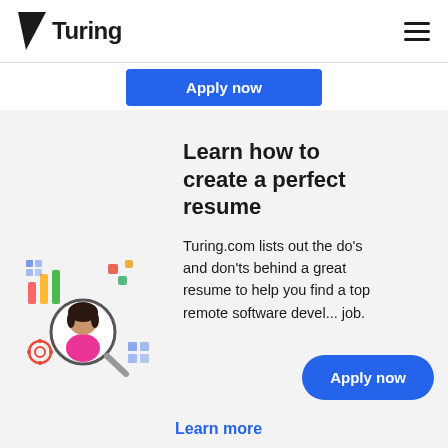Turing
Apply now
Learn how to create a perfect resume
[Figure (illustration): Illustration of a person being viewed through a magnifying glass, surrounded by charts and data icons, representing resume/profile analysis.]
Turing.com lists out the do's and don'ts behind a great resume to help you find a top remote software developer job.
Apply now
Learn more